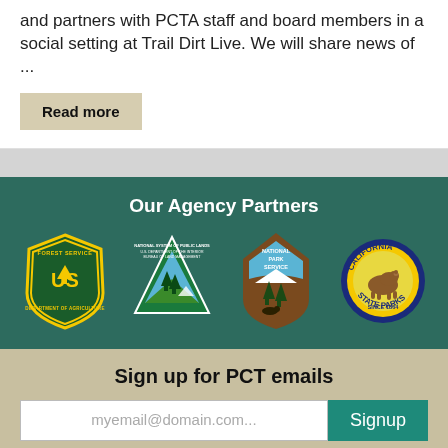and partners with PCTA staff and board members in a social setting at Trail Dirt Live. We will share news of ...
Read more
Our Agency Partners
[Figure (logo): Four agency partner logos: US Forest Service, Bureau of Land Management, National Park Service, California State Parks]
Sign up for PCT emails
myemail@domain.com... Signup